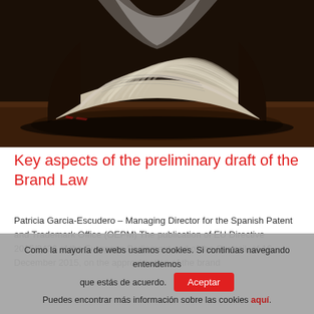[Figure (photo): Dramatic dark photo of an open book with pages fanning out, illuminated with light and shadow, placed on a wooden surface]
Key aspects of the preliminary draft of the Brand Law
Patricia Garcia-Escudero – Managing Director for the Spanish Patent and Trademark Office (OEPM) The publication of EU Directive 2015/2436 of the European Parliament and of the Council, of 16 December 2015, on the approximation of the brand
Como la mayoría de webs usamos cookies. Si continúas navegando entendemos que estás de acuerdo. [Aceptar] Puedes encontrar más información sobre las cookies aquí.